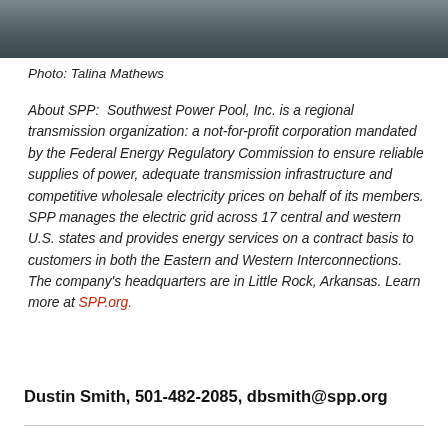[Figure (photo): Partial photo of a person wearing a dark jacket, cropped at the top of the page]
Photo: Talina Mathews
About SPP:  Southwest Power Pool, Inc. is a regional transmission organization: a not-for-profit corporation mandated by the Federal Energy Regulatory Commission to ensure reliable supplies of power, adequate transmission infrastructure and competitive wholesale electricity prices on behalf of its members. SPP manages the electric grid across 17 central and western U.S. states and provides energy services on a contract basis to customers in both the Eastern and Western Interconnections. The company's headquarters are in Little Rock, Arkansas. Learn more at SPP.org.
Dustin Smith, 501-482-2085, dbsmith@spp.org